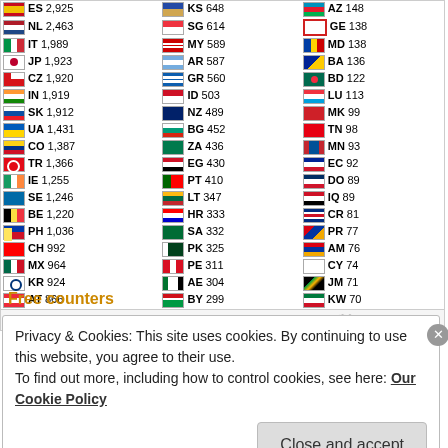| Flag | Code | Count | Flag | Code | Count | Flag | Code | Count |
| --- | --- | --- | --- | --- | --- | --- | --- | --- |
| ES | 2,925 | KS | 648 | AZ | 148 |
| NL | 2,463 | SG | 614 | GE | 138 |
| IT | 1,989 | MY | 589 | MD | 138 |
| JP | 1,923 | AR | 587 | BA | 136 |
| CZ | 1,920 | GR | 560 | BD | 122 |
| IN | 1,919 | ID | 503 | LU | 113 |
| SK | 1,912 | NZ | 489 | MK | 99 |
| UA | 1,431 | BG | 452 | TN | 98 |
| CO | 1,387 | ZA | 436 | MN | 93 |
| TR | 1,366 | EG | 430 | EC | 92 |
| IE | 1,255 | PT | 410 | DO | 89 |
| SE | 1,246 | LT | 347 | IQ | 89 |
| BE | 1,220 | HR | 333 | CR | 81 |
| PH | 1,036 | SA | 332 | PR | 77 |
| CH | 992 | PK | 325 | AM | 76 |
| MX | 964 | PE | 311 | CY | 74 |
| KR | 924 | AE | 304 | JM | 71 |
| AT | 866 | BY | 299 | KW | 70 |
Free counters
Privacy & Cookies: This site uses cookies. By continuing to use this website, you agree to their use.
To find out more, including how to control cookies, see here: Our Cookie Policy
Close and accept